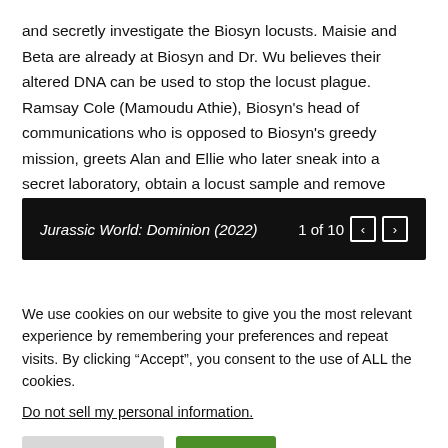and secretly investigate the Biosyn locusts. Maisie and Beta are already at Biosyn and Dr. Wu believes their altered DNA can be used to stop the locust plague. Ramsay Cole (Mamoudu Athie), Biosyn's head of communications who is opposed to Biosyn's greedy mission, greets Alan and Ellie who later sneak into a secret laboratory, obtain a locust sample and remove Maisie from Dr. Wu's lab.
[Figure (screenshot): Dark navigation bar showing 'Jurassic World: Dominion (2022)' in italic white text on the left, and '1 of 10' with left/right arrow buttons on the right.]
We use cookies on our website to give you the most relevant experience by remembering your preferences and repeat visits. By clicking “Accept”, you consent to the use of ALL the cookies.
Do not sell my personal information.
Cookie Settings   Accept